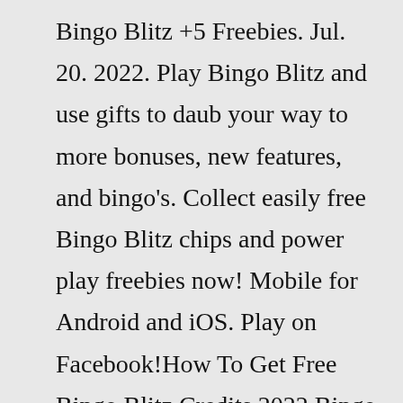Bingo Blitz +5 Freebies. Jul. 20. 2022. Play Bingo Blitz and use gifts to daub your way to more bonuses, new features, and bingo's. Collect easily free Bingo Blitz chips and power play freebies now! Mobile for Android and iOS. Play on Facebook!How To Get Free Bingo Blitz Credits 2022 Bingo Blitz 100 Free Credits 2022. Logged Print; Pages: [1] « previous next ... Single Elimination. FREE BINGO BLITZ CREDIT GENERATOR 2022 No Human